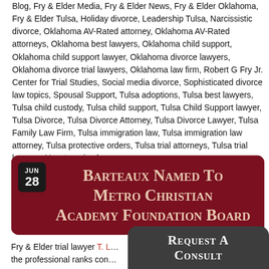Blog, Fry & Elder Media, Fry & Elder News, Fry & Elder Oklahoma, Fry & Elder Tulsa, Holiday divorce, Leadership Tulsa, Narcissistic divorce, Oklahoma AV-Rated attorney, Oklahoma AV-Rated attorneys, Oklahoma best lawyers, Oklahoma child support, Oklahoma child support lawyer, Oklahoma divorce lawyers, Oklahoma divorce trial lawyers, Oklahoma law firm, Robert G Fry Jr. Center for Trial Studies, Social media divorce, Sophisticated divorce law topics, Spousal Support, Tulsa adoptions, Tulsa best lawyers, Tulsa child custody, Tulsa child support, Tulsa Child Support lawyer, Tulsa Divorce, Tulsa Divorce Attorney, Tulsa Divorce Lawyer, Tulsa Family Law Firm, Tulsa immigration law, Tulsa immigration law attorney, Tulsa protective orders, Tulsa trial attorneys, Tulsa trial lawyers, Uncategorized
Barteaux Named To Metro Christian Academy Foundation Board
Fry & Elder trial lawyer T. L... up the professional ranks con...
[Figure (other): Request A Consult button overlay in dark grey with rounded top corners]